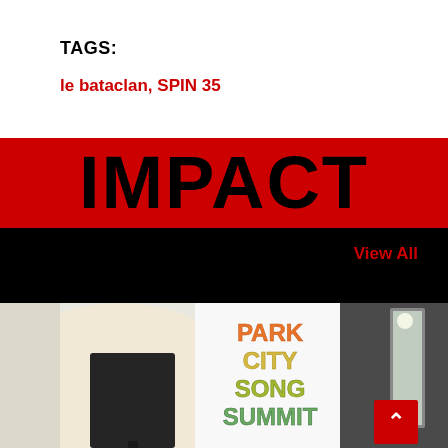TAGS:
le bataclan, SPIN 35
IMPACT
View All
[Figure (photo): Photo of a room with a dark lamp shade in the foreground and a 'Park City Song Summit' branded sign/poster visible in the background. A darker panel is visible on the right side.]